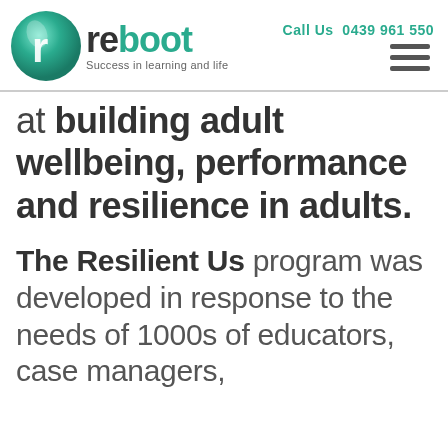reboot — Success in learning and life | Call Us 0439 961 550
at building adult wellbeing, performance and resilience in adults.
The Resilient Us program was developed in response to the needs of 1000s of educators, case managers,